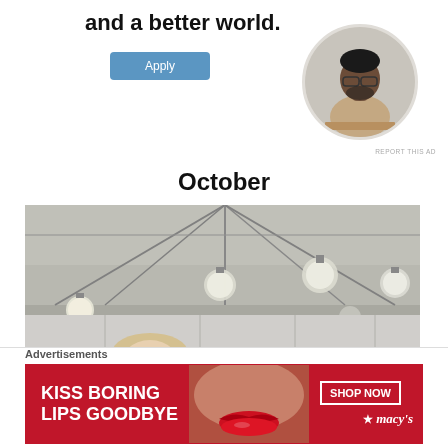and a better world.
[Figure (photo): Circular portrait photo of a man wearing glasses and a beige shirt, sitting at a desk looking upward thoughtfully]
REPORT THIS AD
October
[Figure (photo): Indoor event tent scene with string lights hanging from the ceiling in globe shapes; a person with long hair and sunglasses is visible in the lower portion]
Advertisements
[Figure (infographic): Macy's advertisement banner with red background reading KISS BORING LIPS GOODBYE with SHOP NOW button and Macy's star logo]